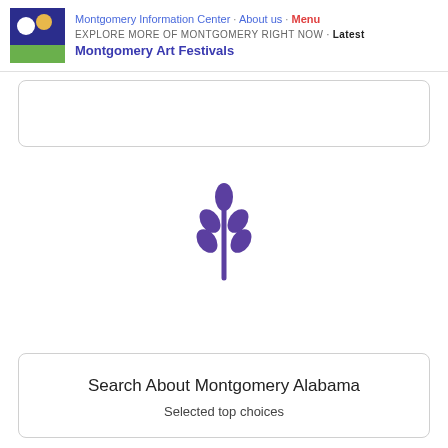Montgomery Information Center · About us · Menu
EXPLORE MORE OF MONTGOMERY RIGHT NOW · Latest
Montgomery Art Festivals
[Figure (logo): Square logo with dark blue upper portion containing white circle and yellow circle, green lower band]
[Figure (illustration): Purple plant/leaf icon resembling a stylized wheat or olive branch with multiple leaf pairs and a central top leaf]
Search About Montgomery Alabama
Selected top choices